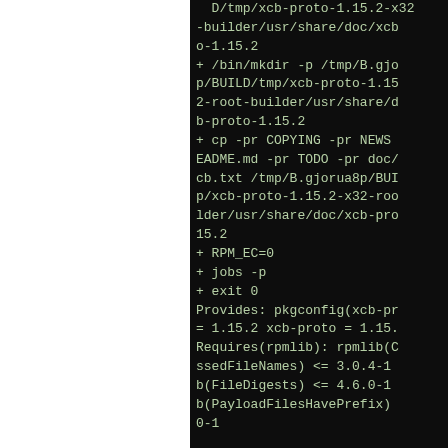D/tmp/xcb-proto-1.15.2-x32-builder/usr/share/doc/xcb-proto-1.15.2
+ /bin/mkdir -p /tmp/B.gjorua8p/BUILD/tmp/xcb-proto-1.15.2-root-builder/usr/share/doc/xcb-proto-1.15.2
+ cp -pr COPYING -pr NEWS -pr README.md -pr TODO -pr doc/xcb.txt /tmp/B.gjorua8p/BUILD/p/xcb-proto-1.15.2-x32-root-builder/usr/share/doc/xcb-proto-1.15.2
+ RPM_EC=0
+ jobs -p
+ exit 0
Provides: pkgconfig(xcb-proto) = 1.15.2 xcb-proto = 1.15.2
Requires(rpmlib): rpmlib(CompressedFileNames) <= 3.0.4-1 rpmlib(FileDigests) <= 4.6.0-1 rpmlib(PayloadFilesHavePrefix) <= 0-1